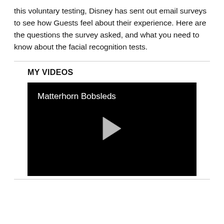this voluntary testing, Disney has sent out email surveys to see how Guests feel about their experience. Here are the questions the survey asked, and what you need to know about the facial recognition tests.
MY VIDEOS
[Figure (screenshot): Video thumbnail showing 'Matterhorn Bobsleds' title text on a black background with a grey play button in the center.]